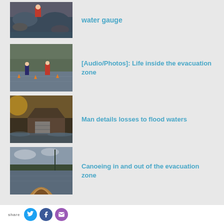[Figure (photo): Person in red jacket near water/rocks with flood water]
water gauge
[Figure (photo): Two people standing in flood water in a flooded area with trees]
[Audio/Photos]: Life inside the evacuation zone
[Figure (photo): House surrounded by flood waters at dusk/dawn]
Man details losses to flood waters
[Figure (photo): View from inside a canoe on flooded waterway with trees in background]
Canoeing in and out of the evacuation zone